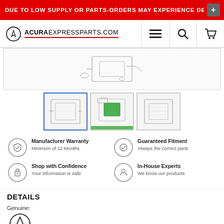DUE TO LOW SUPPLY OR PARTS-ORDERS MAY EXPERIENCE DELAY
[Figure (screenshot): AcuraExpressParts.com navigation bar with logo, hamburger menu, search, and cart icons]
[Figure (photo): Product diagram thumbnail images - three thumbnails showing parts diagrams]
Manufacturer Warranty
Minimum of 12 Months
Guaranteed Fitment
Always the correct parts
Shop with Confidence
Your information is safe
In-House Experts
We know our products
DETAILS
Genuine:
[Figure (logo): Acura logo - circular A symbol with ACURA text below]
SKU: